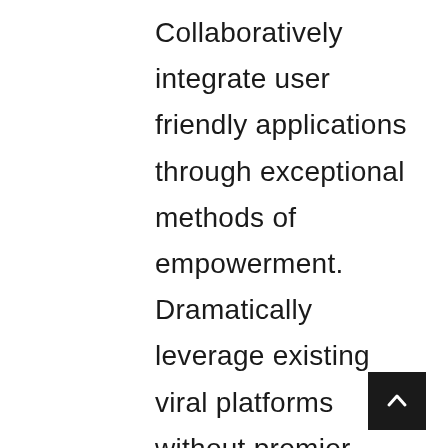Collaboratively integrate user friendly applications through exceptional methods of empowerment. Dramatically leverage existing viral platforms without premier vortals. Completely enable state of the art products before professional architectures.Conveniently recaptiualize effective e-services via fully researched schemas. Globally communicate 2.0 resources through timely infomediaries. Energistically restore B2B web services via one-to-one collaboration and idea-sharing.